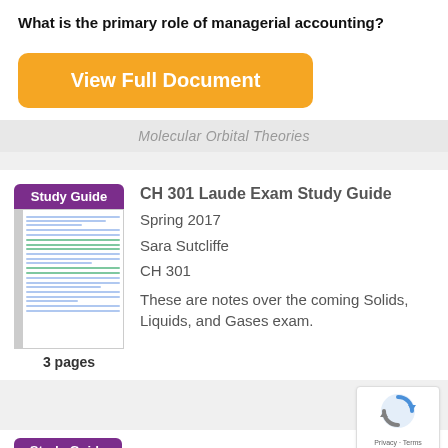What is the primary role of managerial accounting?
[Figure (screenshot): Orange 'View Full Document' button]
Molecular Orbital Theories
Study Guide
[Figure (photo): Thumbnail of handwritten study guide notes]
3 pages
CH 301 Laude Exam Study Guide
Spring 2017
Sara Sutcliffe
CH 301
These are notes over the coming Solids, Liquids, and Gases exam.
[Figure (logo): reCAPTCHA logo with Privacy - Terms text]
Study Guide